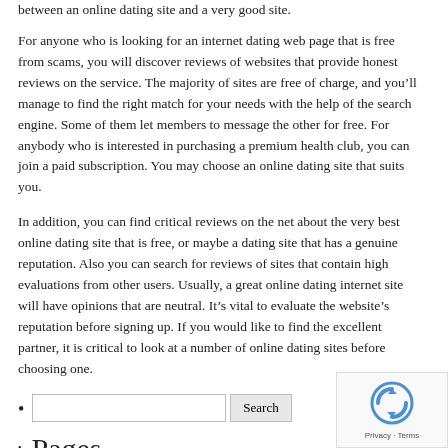between an online dating site and a very good site.
For anyone who is looking for an internet dating web page that is free from scams, you will discover reviews of websites that provide honest reviews on the service. The majority of sites are free of charge, and you’ll manage to find the right match for your needs with the help of the search engine. Some of them let members to message the other for free. For anybody who is interested in purchasing a premium health club, you can join a paid subscription. You may choose an online dating site that suits you.
In addition, you can find critical reviews on the net about the very best online dating site that is free, or maybe a dating site that has a genuine reputation. Also you can search for reviews of sites that contain high evaluations from other users. Usually, a great online dating internet site will have opinions that are neutral. It’s vital to evaluate the website’s reputation before signing up. If you would like to find the excellent partner, it is critical to look at a number of online dating sites before choosing one.
[Search input] Search
Pages